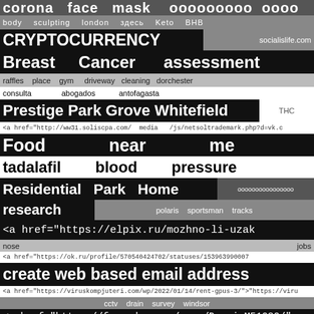corona   face   mask   ооооооооо   оооо
body   sculpting   london   здесь   Keto   BHB
CRYPTOCURRENCY   socialislife.com
Breast   Cancer   assessment
raffles   place   gym   driveway   cleaning   dorchester
consulta   abogados   antofagasta
Prestige Park Grove Whitefield   THC
<a href="http://ww31.soliscpa.com/ media /js/netsoltrademark.php?d=vk.c
Food   near   me
tadalafil   blood   pressure
Residential   Park   Home   оооооооооооооооо
research   polaris   sportsman   tracks
<a href="https://elpix.ru/mozhno-li-uzak
nose   jobs
<a href="https://ok.ru/profile/570540424702/statuses/153963990007
create web based email address
<a href="https://viruskompjuteri.com/wp/2022/01/14/rent-gpus-3/">"https://viru
cctv   drain   survey   windsor
<a href="https://free-dwg.com/user/DarwinM51080/"
<a href="http://losangelesprinter.com/ media /js/netsoltrademark.php?d=vk
Slot   Gacor   Hari   Ini